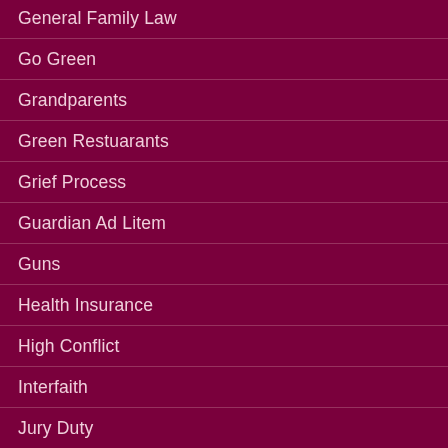General Family Law
Go Green
Grandparents
Green Restuarants
Grief Process
Guardian Ad Litem
Guns
Health Insurance
High Conflict
Interfaith
Jury Duty
Life Insurance
Marriage